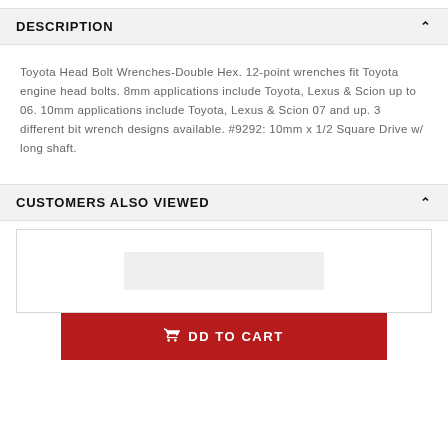DESCRIPTION
Toyota Head Bolt Wrenches-Double Hex. 12-point wrenches fit Toyota engine head bolts. 8mm applications include Toyota, Lexus & Scion up to 06. 10mm applications include Toyota, Lexus & Scion 07 and up. 3 different bit wrench designs available. #9292: 10mm x 1/2 Square Drive w/ long shaft.
CUSTOMERS ALSO VIEWED
[Figure (other): Product card placeholder with light gray box and Add to Cart button]